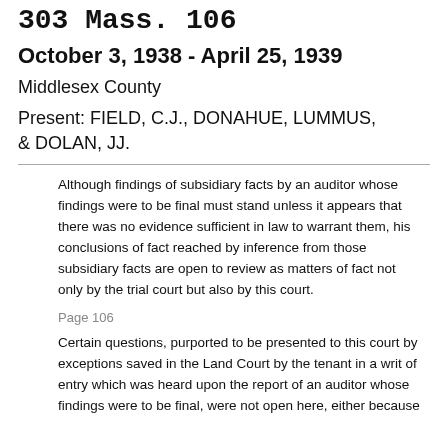303 Mass. 106
October 3, 1938 - April 25, 1939
Middlesex County
Present: FIELD, C.J., DONAHUE, LUMMUS, & DOLAN, JJ.
Although findings of subsidiary facts by an auditor whose findings were to be final must stand unless it appears that there was no evidence sufficient in law to warrant them, his conclusions of fact reached by inference from those subsidiary facts are open to review as matters of fact not only by the trial court but also by this court.
Page 106
Certain questions, purported to be presented to this court by exceptions saved in the Land Court by the tenant in a writ of entry which was heard upon the report of an auditor whose findings were to be final, were not open here, either because